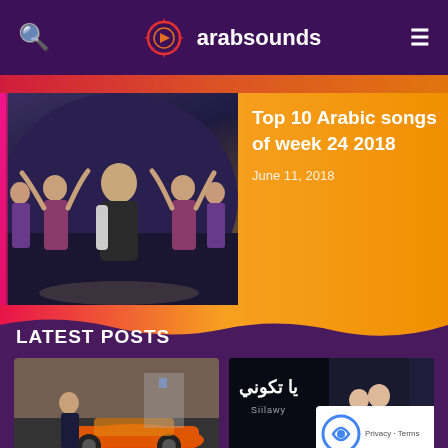arabsounds
[Figure (screenshot): Hero banner with Arabic music video thumbnail and text 'Top 10 Arabic songs of week 24 2018', dated June 11, 2018]
Top 10 Arabic songs of week 24 2018
June 11, 2018
LATEST POSTS
[Figure (photo): Thumbnail of Mohamed Ramadan – Boss music video showing man with orange car]
Mohamed Ramadan – Boss
[Figure (photo): Thumbnail of Siilawy – Lama Tkooni music video with Arabic text overlay]
Siilawy – Lama Tkooni